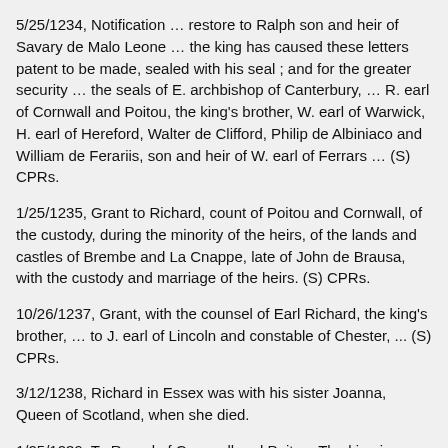5/25/1234, Notification … restore to Ralph son and heir of Savary de Malo Leone … the king has caused these letters patent to be made, sealed with his seal ; and for the greater security … the seals of E. archbishop of Canterbury, … R. earl of Cornwall and Poitou, the king's brother, W. earl of Warwick, H. earl of Hereford, Walter de Clifford, Philip de Albiniaco and William de Ferariis, son and heir of W. earl of Ferrars … (S) CPRs.
1/25/1235, Grant to Richard, count of Poitou and Cornwall, of the custody, during the minority of the heirs, of the lands and castles of Brembe and La Cnappe, late of John de Brausa, with the custody and marriage of the heirs. (S) CPRs.
10/26/1237, Grant, with the counsel of Earl Richard, the king's brother, … to J. earl of Lincoln and constable of Chester, ... (S) CPRs.
3/12/1238, Richard in Essex was with his sister Joanna, Queen of Scotland, when she died.
1/25/1239, To R. earl of Cornwall and Poitou. The king is…